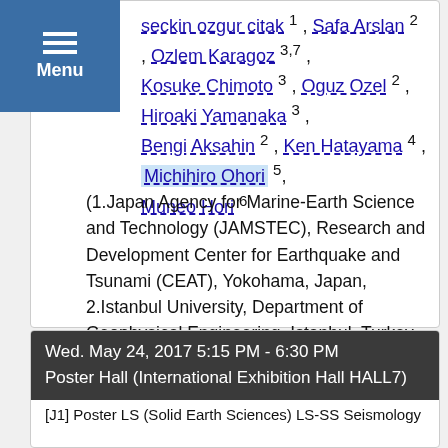seckin ozgur citak 1, Safa Arslan 2, Ozlem Karagoz 3,7, Kosuke Chimoto 3, Oguz Ozel 2, Hiroaki Yamanaka 3, Bengi Aksahin 2, Ken Hatayama 4, Michihiro Ohori 5, Muneo Hori 6
(1.Japan Agency for Marine-Earth Science and Technology (JAMSTEC), Research and Development Center for Earthquake and Tsunami (CEAT), Yokohama, Japan, 2.Istanbul University, Department of Geophysical Engineering, Istanbul, Turkey, 3.Tokyo Institute of Technology, Dept of Environmental Science and Technology, Yokohama, Japan, 4.National Research Institute of Fire and Disaster, Tokyo, Japan, 5.Fukui University, Research Institute of Nuclear Engineering, Fukui, Japan, 6.University of Tokyo, Earthquake Research Institute, Tokyo, Japan, 7.Canakkale Onsekiz Mart University, Department of Geophysical Engineering, Canakkale, Turkey)
Wed. May 24, 2017 5:15 PM - 6:30 PM
Poster Hall (International Exhibition Hall HALL7)
[J1] Poster LS (Solid Earth Sciences) LS-SS Seismology